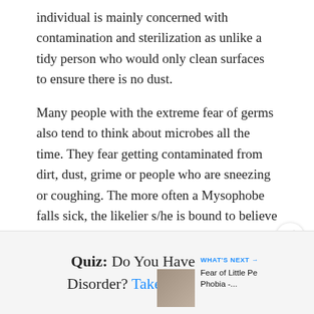individual is mainly concerned with contamination and sterilization as unlike a tidy person who would only clean surfaces to ensure there is no dust.
Many people with the extreme fear of germs also tend to think about microbes all the time. They fear getting contaminated from dirt, dust, grime or people who are sneezing or coughing. The more often a Mysophobe falls sick, the likelier s/he is bound to believe the need to clean. This can severely impact one's daily functioning.
Quiz: Do You Have an Anxiety Disorder? Take the Test Now